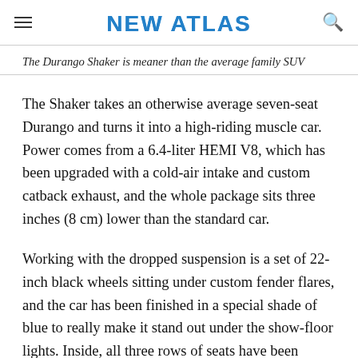NEW ATLAS
The Durango Shaker is meaner than the average family SUV
The Shaker takes an otherwise average seven-seat Durango and turns it into a high-riding muscle car. Power comes from a 6.4-liter HEMI V8, which has been upgraded with a cold-air intake and custom catback exhaust, and the whole package sits three inches (8 cm) lower than the standard car.
Working with the dropped suspension is a set of 22-inch black wheels sitting under custom fender flares, and the car has been finished in a special shade of blue to really make it stand out under the show-floor lights. Inside, all three rows of seats have been